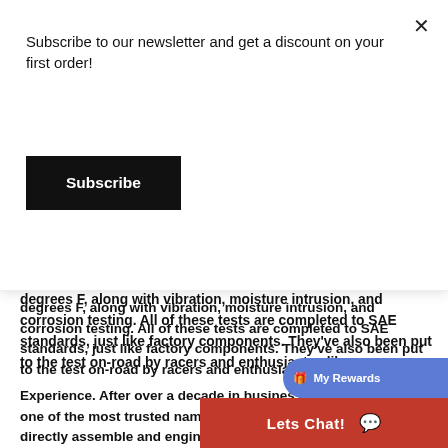degrees F, along with vibration, moisture intrusion, and corrosion testing. All of these tests are completed to SAE standards, just like factory components. They've also been put to the test on-road by racers and enthusiasts alike.
Experience. After over a decade in business, Diode Dynamics is one of the most trusted names in automotive LED lighting. We directly assemble and engineer our own products in the United States, allowing for higher quality and performance, with the newest and brightest LED technology. No matter what you're driving, we pride ourselves in offering only the best possible LED solutions. Please contact us if you'd like to discuss your lighting project!
Subscribe to our newsletter and get a discount on your first order!
Subscribe
My Rewards
Lets Chat!